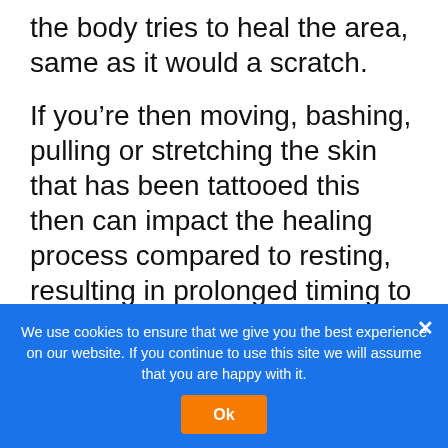the body tries to heal the area, same as it would a scratch.
If you’re then moving, bashing, pulling or stretching the skin that has been tattooed this then can impact the healing process compared to resting, resulting in prolonged timing to get the final.
You’ve got to think of it as a graze, you wouldn’t repeatedly rub it or bash the surface as it could cause further implications and this is also why we don’t recommend working
We use cookies to ensure that we give you the best experience on our website. If you continue to use this site we will assume that you are happy with it.